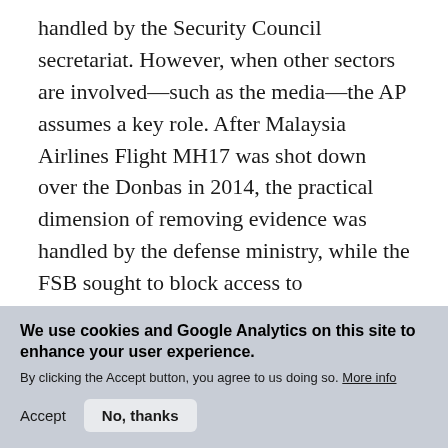handled by the Security Council secretariat. However, when other sectors are involved—such as the media—the AP assumes a key role. After Malaysia Airlines Flight MH17 was shot down over the Donbas in 2014, the practical dimension of removing evidence was handled by the defense ministry, while the FSB sought to block access to eyewitnesses and participants. However, because minimizing the impact was a
We use cookies and Google Analytics on this site to enhance your user experience. By clicking the Accept button, you agree to us doing so. More info